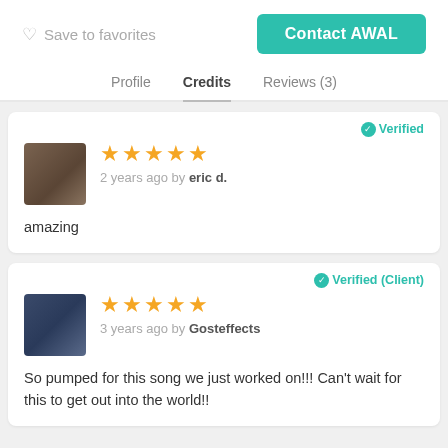♡ Save to favorites
Contact AWAL
Profile   Credits   Reviews (3)
✅ Verified
★★★★★ 2 years ago by eric d.
amazing
✅ Verified (Client)
★★★★★ 3 years ago by Gosteffects
So pumped for this song we just worked on!!! Can't wait for this to get out into the world!!